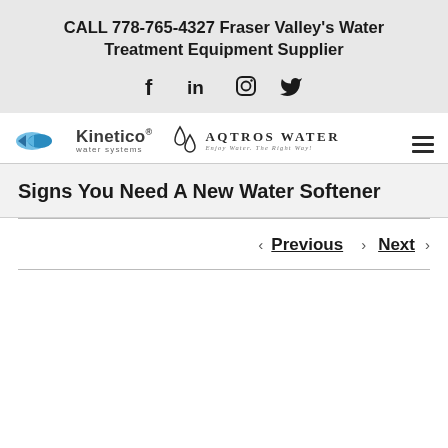CALL 778-765-4327 Fraser Valley's Water Treatment Equipment Supplier
[Figure (logo): Kinetico water systems logo and Aqtros Water logo side by side with hamburger menu icon]
Signs You Need A New Water Softener
< Previous   Next >